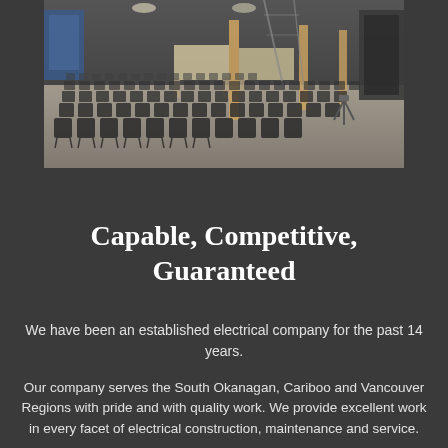[Figure (photo): Interior of a large commercial/industrial space under construction, with rows of black folding chairs arranged on a concrete floor, wooden beam supports, scaffolding, and dark acoustic panels in the background. Blue equipment visible on the left side.]
Capable, Competitive, Guaranteed
We have been an established electrical company for the past 14 years.
Our company serves the South Okanagan, Cariboo and Vancouver Regions with pride and with quality work. We provide excellent work in every facet of electrical construction, maintenance and service.